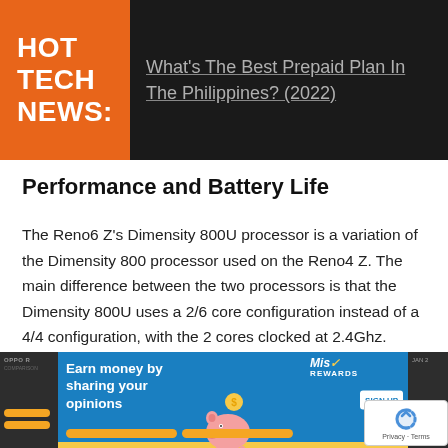HOT TECH NEWS:
What's The Best Prepaid Plan In The Philippines? (2022)
Performance and Battery Life
The Reno6 Z's Dimensity 800U processor is a variation of the Dimensity 800 processor used on the Reno4 Z. The main difference between the two processors is that the Dimensity 800U uses a 2/6 core configuration instead of a 4/4 configuration, with the 2 cores clocked at 2.4Ghz.
[Figure (screenshot): Advertisement banner: 'Earn money by sharing your opinions' with a piggy bank graphic and Mis Rewards sign up button, overlaid on a dark OPPO product comparison screenshot with orange call-to-action buttons]